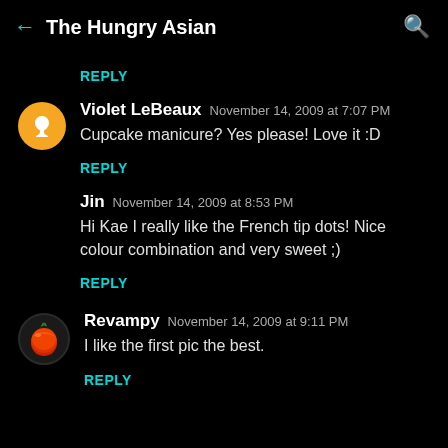The Hungry Asian
REPLY
Violet LeBeaux  November 14, 2009 at 7:07 PM
Cupcake manicure? Yes please! Love it :D
REPLY
Jin  November 14, 2009 at 8:53 PM
Hi Kae I really like the French tip dots! Nice colour combination and very sweet ;)
REPLY
Revampy  November 14, 2009 at 9:11 PM
I like the first pic the best.
REPLY